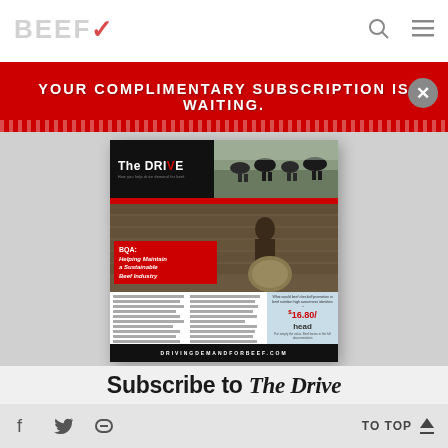BEEF
YOUR COMPLIMENTARY SUBSCRIPTION IS WAITING.
[Figure (illustration): Magazine cover for 'The Drive' showing cattle in a field in the header and a person working with livestock overlaid with red text box reading 'BQA: Helping Maintain a Sustainable Beef Industry', with body text, an info box showing $16.80/head, and footer bar with DRIVINGDEMANDFORBEEF.COM]
Subscribe to The Drive
TO TOP